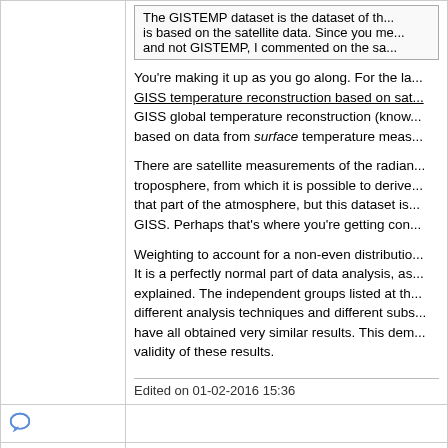The GISTEMP dataset is the dataset of the... is based on the satellite data. Since you me... and not GISTEMP, I commented on the sa...
You're making it up as you go along. For the la... GISS temperature reconstruction based on sat... GISS global temperature reconstruction (know... based on data from surface temperature meas...
There are satellite measurements of the radian... troposphere, from which it is possible to derive... that part of the atmosphere, but this dataset is... GISS. Perhaps that's where you're getting con...
Weighting to account for a non-even distribution... It is a perfectly normal part of data analysis, as... explained. The independent groups listed at th... different analysis techniques and different subs... have all obtained very similar results. This dem... validity of these results.
Edited on 01-02-2016 15:36
[Figure (other): Speech bubble / comment icon]
IBdaMann
Surface Detail wrote: Weighting to accoun... distribution is not fabrication. It is a perfectly... data analysis, as I've already explained.